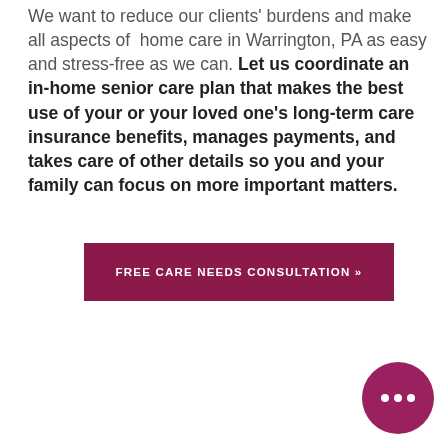We want to reduce our clients' burdens and make all aspects of home care in Warrington, PA as easy and stress-free as we can. Let us coordinate an in-home senior care plan that makes the best use of your or your loved one's long-term care insurance benefits, manages payments, and takes care of other details so you and your family can focus on more important matters.
[Figure (other): Dark magenta/maroon rectangular button with white uppercase text reading 'FREE CARE NEEDS CONSULTATION »']
[Figure (other): Circular magenta chat button with three dots icon in white, positioned bottom-right corner]